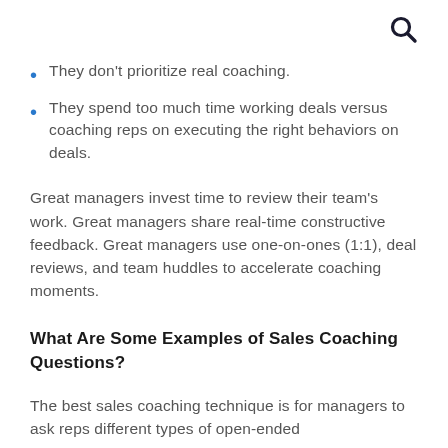They don't prioritize real coaching.
They spend too much time working deals versus coaching reps on executing the right behaviors on deals.
Great managers invest time to review their team's work. Great managers share real-time constructive feedback. Great managers use one-on-ones (1:1), deal reviews, and team huddles to accelerate coaching moments.
What Are Some Examples of Sales Coaching Questions?
The best sales coaching technique is for managers to ask reps different types of open-ended